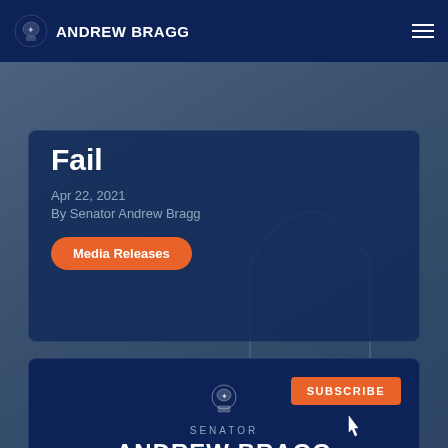ANDREW BRAGG
Fail
Apr 22, 2021
By Senator Andrew Bragg
Media Releases
[Figure (screenshot): Subscribe button with cursor pointer over it, Australian Government crest, SENATOR ANDREW BRAGG, Liberal Senator for NEW SOUTH WALES, STRONG ECONOMY. FAIR SOCIETY tagline on dark navy background]
SUBSCRIBE
SENATOR
ANDREW BRAGG
Liberal Senator for NEW SOUTH WALES
STRONG ECONOMY. FAIR SOCIETY